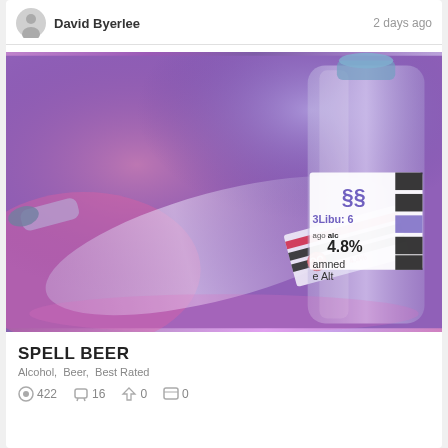David Byerlee  2 days ago
[Figure (photo): Two glass bottles with labels showing 'alc 4.8%' and other text, photographed against a purple background with pink/magenta lighting]
SPELL BEER
Alcohol,  Beer,  Best Rated
422  16  0  0